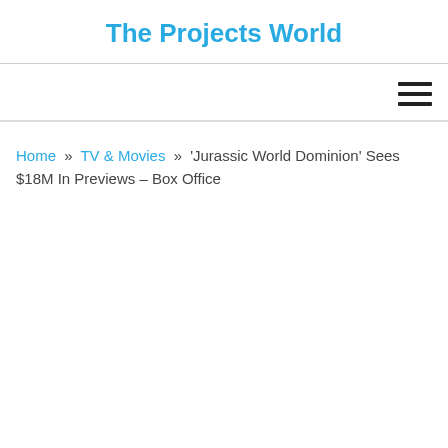The Projects World
Home » TV & Movies » 'Jurassic World Dominion' Sees $18M In Previews – Box Office